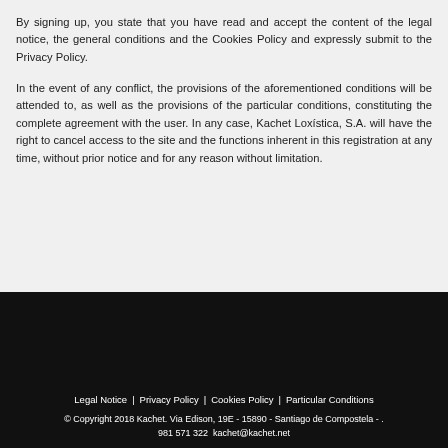By signing up, you state that you have read and accept the content of the legal notice, the general conditions and the Cookies Policy and expressly submit to the Privacy Policy.
In the event of any conflict, the provisions of the aforementioned conditions will be attended to, as well as the provisions of the particular conditions, constituting the complete agreement with the user. In any case, Kachet Loxística, S.A. will have the right to cancel access to the site and the functions inherent in this registration at any time, without prior notice and for any reason without limitation.
Legal Notice | Privacy Policy | Cookies Policy | Particular Conditions
© Copyright 2018 Kachet. Via Edison, 19E - 15890 - Santiago de Compostela - . 981 571 322  kachet@kachet.net